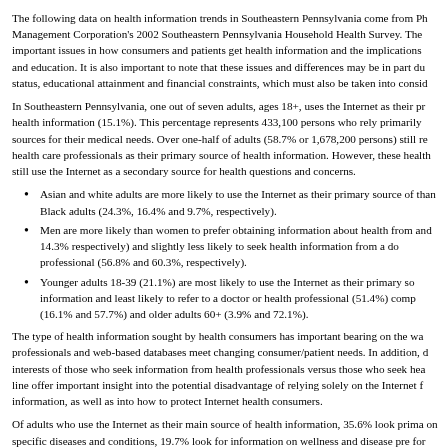The following data on health information trends in Southeastern Pennsylvania come from Ph... Management Corporation's 2002 Southeastern Pennsylvania Household Health Survey. The important issues in how consumers and patients get health information and the implications and education. It is also important to note that these issues and differences may be in part du status, educational attainment and financial constraints, which must also be taken into consid...
In Southeastern Pennsylvania, one out of seven adults, ages 18+, uses the Internet as their pr health information (15.1%). This percentage represents 433,100 persons who rely primarily sources for their medical needs. Over one-half of adults (58.7% or 1,678,200 persons) still re health care professionals as their primary source of health information. However, these health still use the Internet as a secondary source for health questions and concerns.
Asian and white adults are more likely to use the Internet as their primary source of than Black adults (24.3%, 16.4% and 9.7%, respectively).
Men are more likely than women to prefer obtaining information about health from and 14.3% respectively) and slightly less likely to seek health information from a do professional (56.8% and 60.3%, respectively).
Younger adults 18-39 (21.1%) are most likely to use the Internet as their primary so information and least likely to refer to a doctor or health professional (51.4%) comp (16.1% and 57.7%) and older adults 60+ (3.9% and 72.1%).
The type of health information sought by health consumers has important bearing on the wa professionals and web-based databases meet changing consumer/patient needs. In addition, d interests of those who seek information from health professionals versus those who seek hea line offer important insight into the potential disadvantage of relying solely on the Internet f information, as well as into how to protect Internet health consumers.
Of adults who use the Internet as their main source of health information, 35.6% look prima on specific diseases and conditions, 19.7% look for information on wellness and disease pre for information about the body, and 9.7% look for information on medications. Of adults wh